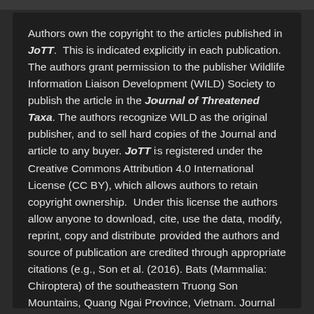Authors own the copyright to the articles published in JoTT. This is indicated explicitly in each publication. The authors grant permission to the publisher Wildlife Information Liaison Development (WILD) Society to publish the article in the Journal of Threatened Taxa. The authors recognize WILD as the original publisher, and to sell hard copies of the Journal and article to any buyer. JoTT is registered under the Creative Commons Attribution 4.0 International License (CC BY), which allows authors to retain copyright ownership. Under this license the authors allow anyone to download, cite, use the data, modify, reprint, copy and distribute provided the authors and source of publication are credited through appropriate citations (e.g., Son et al. (2016). Bats (Mammalia: Chiroptera) of the southeastern Truong Son Mountains, Quang Ngai Province, Vietnam. Journal of Threatened Taxa 8(7): 8953–8969. https://doi.org/10.11609/jott.2785.8.7.8953-